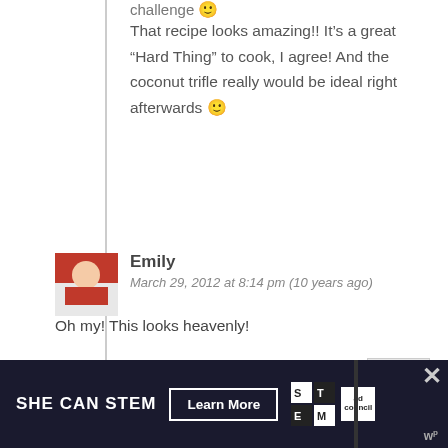challenge 🙂
That recipe looks amazing!! It's a great “Hard Thing” to cook, I agree! And the coconut trifle really would be ideal right afterwards 🙂
Reply
Emily
March 29, 2012 at 8:14 pm (10 years ago)
Oh my! This looks heavenly!
Reply
Julie @ Willow Bird Baking
March 30, 2012 at 1:53 am (10 years ago)
[Figure (infographic): SHE CAN STEM advertisement banner with Learn More button, STEM logo, Ad Council logo, close X button, and wp logo]
SHE CAN STEM Learn More